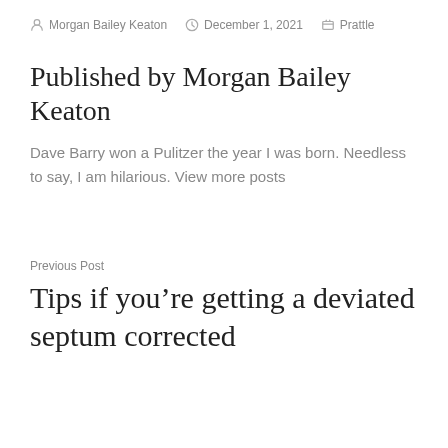Morgan Bailey Keaton  December 1, 2021  Prattle
Published by Morgan Bailey Keaton
Dave Barry won a Pulitzer the year I was born. Needless to say, I am hilarious. View more posts
Previous Post
Tips if you’re getting a deviated septum corrected